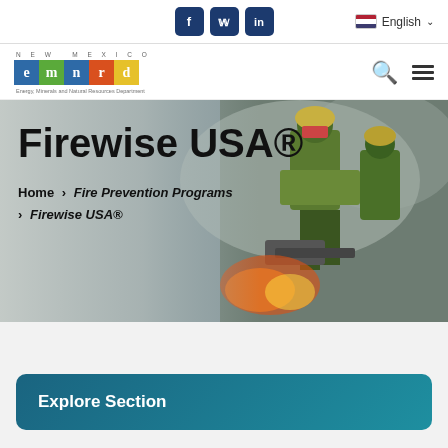Social icons: Facebook, Twitter, LinkedIn | Language: English
[Figure (logo): New Mexico EMNRD logo with colored tiles for each letter e, m, n, r, d and tagline Energy, Minerals and Natural Resources Department]
[Figure (photo): Hero banner photo of firefighters in smoke and flames with text overlay 'Firewise USA®' and breadcrumb navigation]
Firewise USA®
Home > Fire Prevention Programs > Firewise USA®
Explore Section